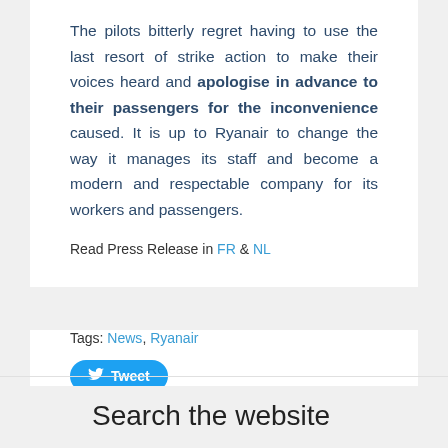The pilots bitterly regret having to use the last resort of strike action to make their voices heard and apologise in advance to their passengers for the inconvenience caused. It is up to Ryanair to change the way it manages its staff and become a modern and respectable company for its workers and passengers.
Read Press Release in FR & NL
Tags: News, Ryanair
Tweet
Search the website